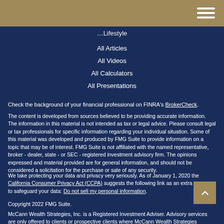Lifestyle
All Articles
All Videos
All Calculators
All Presentations
Check the background of your financial professional on FINRA's BrokerCheck.
The content is developed from sources believed to be providing accurate information. The information in this material is not intended as tax or legal advice. Please consult legal or tax professionals for specific information regarding your individual situation. Some of this material was developed and produced by FMG Suite to provide information on a topic that may be of interest. FMG Suite is not affiliated with the named representative, broker - dealer, state - or SEC - registered investment advisory firm. The opinions expressed and material provided are for general information, and should not be considered a solicitation for the purchase or sale of any security.
We take protecting your data and privacy very seriously. As of January 1, 2020 the California Consumer Privacy Act (CCPA) suggests the following link as an extra measure to safeguard your data: Do not sell my personal information.
Copyright 2022 FMG Suite.
McCann Wealth Strategies, Inc. is a Registered Investment Adviser. Advisory services are only offered to clients or prospective clients where McCann Wealth Strategies